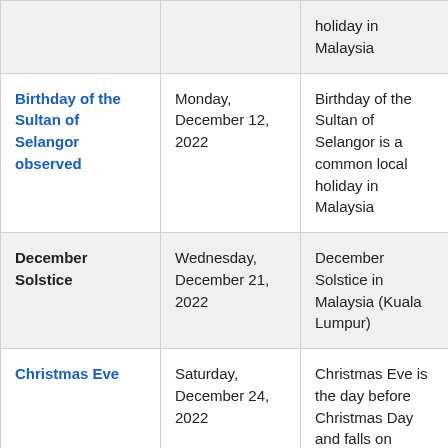| Holiday | Date | Description |
| --- | --- | --- |
| (continued from above) | holiday in Malaysia |  |
| Birthday of the Sultan of Selangor observed | Monday, December 12, 2022 | Birthday of the Sultan of Selangor is a common local holiday in Malaysia |
| December Solstice | Wednesday, December 21, 2022 | December Solstice in Malaysia (Kuala Lumpur) |
| Christmas Eve | Saturday, December 24, 2022 | Christmas Eve is the day before Christmas Day and falls on |